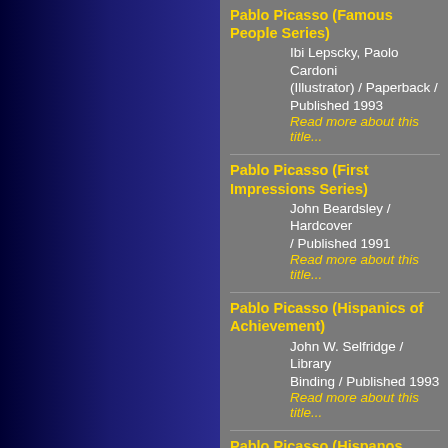Pablo Picasso (Famous People Series)
Ibi Lepscky, Paolo Cardoni (Illustrator) / Paperback / Published 1993
Read more about this title...
Pablo Picasso (First Impressions Series)
John Beardsley / Hardcover / Published 1991
Read more about this title...
Pablo Picasso (Hispanics of Achievement)
John W. Selfridge / Library Binding / Published 1993
Read more about this title...
Pablo Picasso (Hispanos Notables)
John Selfridge / Library Binding / Published 1994
Read more about this title...